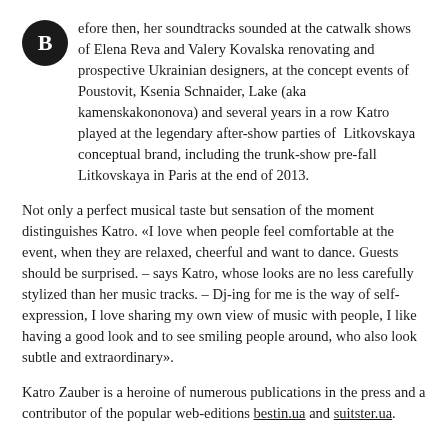efore then, her soundtracks sounded at the catwalk shows of Elena Reva and Valery Kovalska renovating and prospective Ukrainian designers, at the concept events of Poustovit, Ksenia Schnaider, Lake (aka kamenskakononova) and several years in a row Katro played at the legendary after-show parties of Litkovskaya conceptual brand, including the trunk-show pre-fall Litkovskaya in Paris at the end of 2013.
Not only a perfect musical taste but sensation of the moment distinguishes Katro. «I love when people feel comfortable at the event, when they are relaxed, cheerful and want to dance. Guests should be surprised. – says Katro, whose looks are no less carefully stylized than her music tracks. – Dj-ing for me is the way of self-expression, I love sharing my own view of music with people, I like having a good look and to see smiling people around, who also look subtle and extraordinary».
Katro Zauber is a heroine of numerous publications in the press and a contributor of the popular web-editions bestin.ua and suitster.ua.